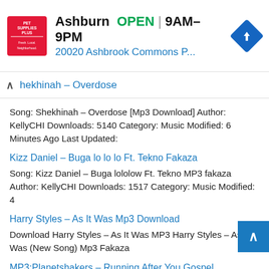[Figure (other): Pet Supplies Plus advertisement banner showing store logo, 'Ashburn OPEN 9AM-9PM' text, address '20020 Ashbrook Commons P...', and navigation arrow icon]
Shekhinah – Overdose
Song: Shekhinah – Overdose [Mp3 Download] Author: KellyCHI Downloads: 5140 Category: Music Modified: 6 Minutes Ago Last Updated:
Kizz Daniel – Buga lo lo lo Ft. Tekno Fakaza
Song: Kizz Daniel – Buga lololow Ft. Tekno MP3 fakaza Author: KellyCHI Downloads: 1517 Category: Music Modified: 4
Harry Styles – As It Was Mp3 Download
Download Harry Styles – As It Was MP3 Harry Styles – As It Was (New Song) Mp3 Fakaza
MP3:Planetshakers – Running After You Gospel